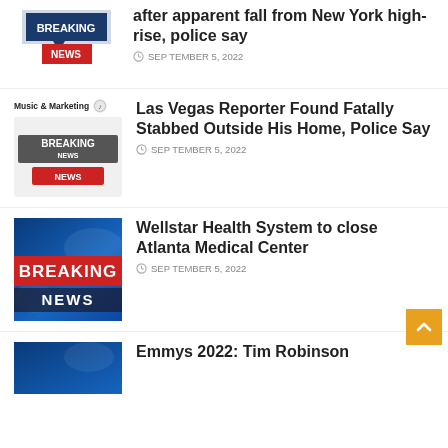[Figure (illustration): Breaking News badge logo - small red/blue design]
after apparent fall from New York high-rise, police say
SEPTEMBER 5, 2022
Music & Marketing
[Figure (illustration): Breaking News badge logo - medium red/gray design]
Las Vegas Reporter Found Fatally Stabbed Outside His Home, Police Say
SEPTEMBER 5, 2022
[Figure (photo): Breaking News broadcast graphic - blue background with red BREAKING NEWS banner]
Wellstar Health System to close Atlanta Medical Center
SEPTEMBER 5, 2022
[Figure (photo): Breaking News broadcast graphic - blue background partial view]
Emmys 2022: Tim Robinson